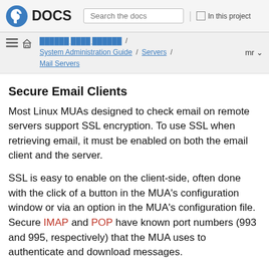Fedora DOCS | Search the docs | In this project
System Administration Guide / Servers / Mail Servers | mr
Secure Email Clients
Most Linux MUAs designed to check email on remote servers support SSL encryption. To use SSL when retrieving email, it must be enabled on both the email client and the server.
SSL is easy to enable on the client-side, often done with the click of a button in the MUA’s configuration window or via an option in the MUA’s configuration file. Secure IMAP and POP have known port numbers (993 and 995, respectively) that the MUA uses to authenticate and download messages.